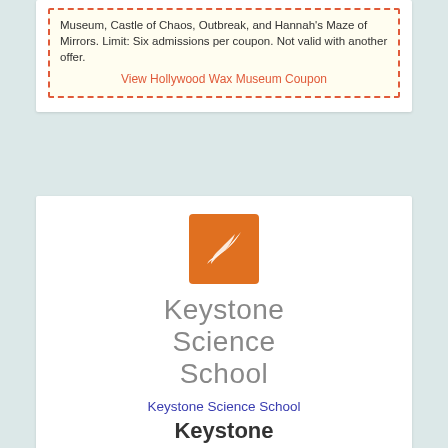Museum, Castle of Chaos, Outbreak, and Hannah's Maze of Mirrors. Limit: Six admissions per coupon. Not valid with another offer.
View Hollywood Wax Museum Coupon
[Figure (logo): Keystone Science School orange logo with white bird/wing silhouette]
Keystone Science School
Keystone Science School
Keystone
Map It
| Keystone Science School | Email Us | Phone | Reviews |
| --- | --- | --- | --- |
|  |